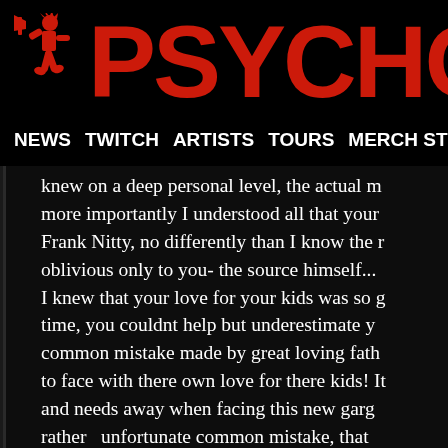PSYCHOPA
NEWS  TWITCH  ARTISTS  TOURS  MERCH ST
knew on a deep personal level,  the actual m
more importantly I understood all that your
Frank Nitty, no differently than I know the r
oblivious only to you- the source himself...
I knew that your love for your kids was so g
time, you couldnt help but underestimate y
common mistake made by great loving fath
to face with there own love for there kids! It
and needs away when facing this new garg
rather  unfortunate common mistake, that 
on there own desires. Because the truth is.